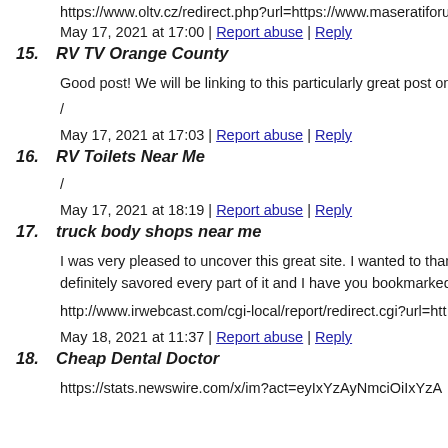https://www.oltv.cz/redirect.php?url=https://www.maseratiforu...
May 17, 2021 at 17:00 | Report abuse | Reply
15. RV TV Orange County
Good post! We will be linking to this particularly great post on...
/
May 17, 2021 at 17:03 | Report abuse | Reply
16. RV Toilets Near Me
/
May 17, 2021 at 18:19 | Report abuse | Reply
17. truck body shops near me
I was very pleased to uncover this great site. I wanted to thank... definitely savored every part of it and I have you bookmarked...
http://www.irwebcast.com/cgi-local/report/redirect.cgi?url=htt...
May 18, 2021 at 11:37 | Report abuse | Reply
18. Cheap Dental Doctor
https://stats.newswire.com/x/im?act=eyIxYzAyNmciOiIxYzA...